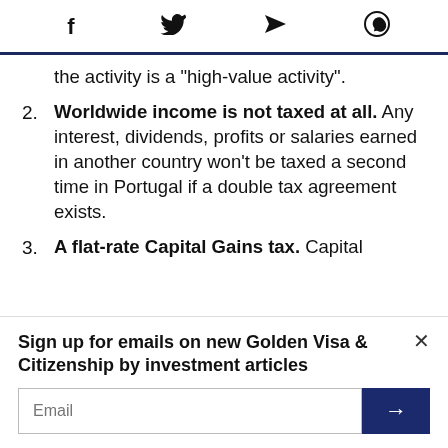f  [twitter]  [send]  [whatsapp]
the activity is a "high-value activity".
2. Worldwide income is not taxed at all. Any interest, dividends, profits or salaries earned in another country won't be taxed a second time in Portugal if a double tax agreement exists.
3. A flat-rate Capital Gains tax. Capital
Sign up for emails on new Golden Visa & Citizenship by investment articles